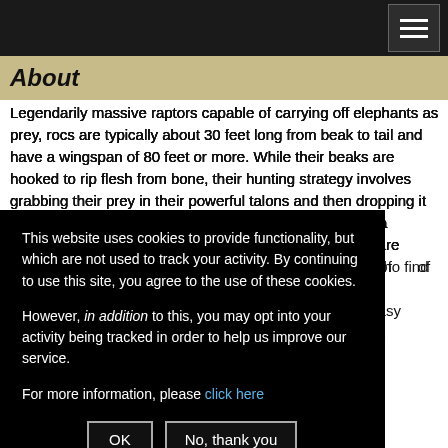About
Legendarily massive raptors capable of carrying off elephants as prey, rocs are typically about 30 feet long from beak to tail and have a wingspan of 80 feet or more. While their beaks are hooked to rip flesh from bone, their hunting strategy involves grabbing their prey in their powerful talons and then dropping it from great heights before feeding. This method creates a massive amount of carrion, which guarantees that rocs are followed by flocks of opportunistic [scavengers] who find it easy [to feed], for the most [part they] metimes get [access to] food. [They nest on] d cliffs [as terres] trial dwellers. [hunting b] oth land and sea [protecting] and their young. [They some] compete with [others for] t territory. But
This website uses cookies to provide functionality, but which are not used to track your activity. By continuing to use this site, you agree to the use of these cookies.

However, in addition to this, you may opt into your activity being tracked in order to help us improve our service.

For more information, please click here

[OK] [No, thank you]